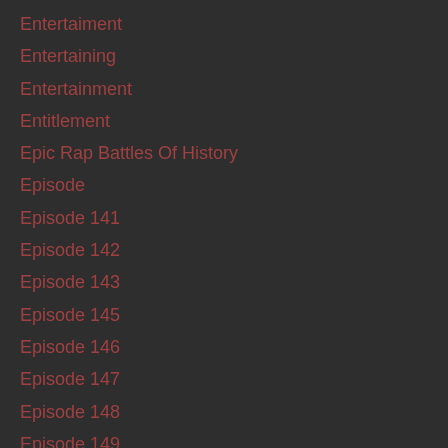Entertaiment
Entertaining
Entertainment
Entitlement
Epic Rap Battles Of History
Episode
Episode 141
Episode 142
Episode 143
Episode 145
Episode 146
Episode 147
Episode 148
Episode 149
Episode 150
Episode 151
Episode 152
Episode 153
Episode 154
Episode 155
Episode 158